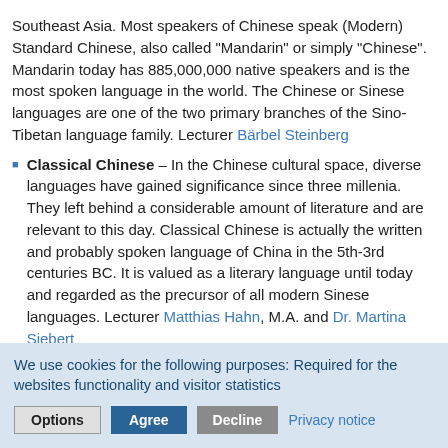Southeast Asia. Most speakers of Chinese speak (Modern) Standard Chinese, also called "Mandarin" or simply "Chinese". Mandarin today has 885,000,000 native speakers and is the most spoken language in the world. The Chinese or Sinese languages are one of the two primary branches of the Sino-Tibetan language family. Lecturer Bärbel Steinberg
Classical Chinese – In the Chinese cultural space, diverse languages have gained significance since three millenia. They left behind a considerable amount of literature and are relevant to this day. Classical Chinese is actually the written and probably spoken language of China in the 5th-3rd centuries BC. It is valued as a literary language until today and regarded as the precursor of all modern Sinese languages. Lecturer Matthias Hahn, M.A. and Dr. Martina Siebert
Japanese is the official language of Japan and spoken by almost all of its around 128 million inhabitants as a native language (2012). Japanese is close to other Asian languages, especially to Korean. The script was derived from Chinese characters, although the languages are not related. Presently, there are 1945 characters assigned to common use. After
We use cookies for the following purposes: Required for the websites functionality and visitor statistics
Options  Agree  Decline  Privacy notice